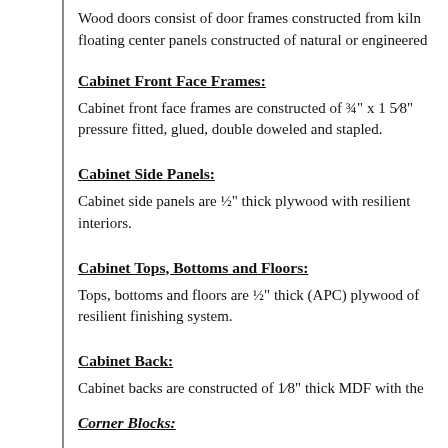Wood doors consist of door frames constructed from kil… floating center panels constructed of natural or engineer…
Cabinet Front Face Frames:
Cabinet front face frames are constructed of ¾" x 1 5⁄8" pressure fitted, glued, double doweled and stapled.
Cabinet Side Panels:
Cabinet side panels are ½" thick plywood with resilient interiors.
Cabinet Tops, Bottoms and Floors:
Tops, bottoms and floors are ½" thick (APC) plywood o… resilient finishing system.
Cabinet Back:
Cabinet backs are constructed of 1⁄8" thick MDF with th…
Corner Blocks: